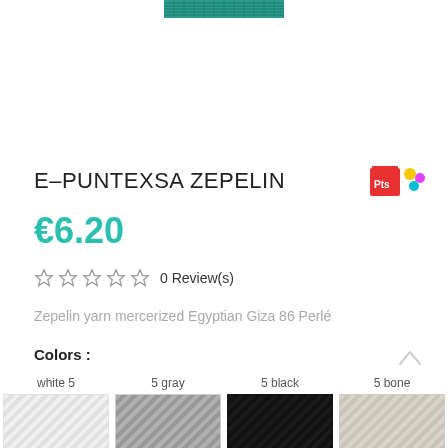[Figure (photo): Teal/green knit yarn texture banner at top of page]
E-PUNTEXSA ZEPELIN
[Figure (logo): Colorful kids/crafts logo on the right side]
€6.20
0 Review(s)
Zepelin yarn mercerized Egyptian Giza 86 Perlé
Colors :
white 5
5 gray
5 black
5 bone